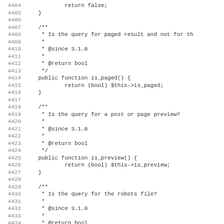Code listing lines 4404-4435 showing PHP source code with docblocks for is_paged(), is_preview(), and start of robots file query functions